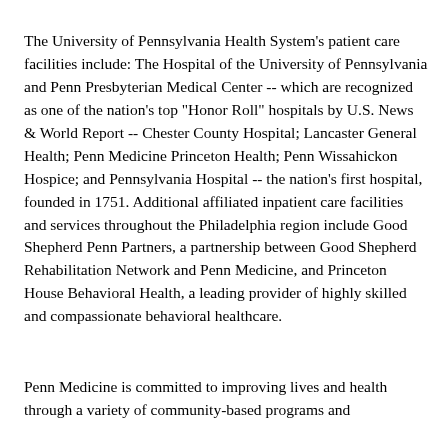The University of Pennsylvania Health System's patient care facilities include: The Hospital of the University of Pennsylvania and Penn Presbyterian Medical Center -- which are recognized as one of the nation's top "Honor Roll" hospitals by U.S. News & World Report -- Chester County Hospital; Lancaster General Health; Penn Medicine Princeton Health; Penn Wissahickon Hospice; and Pennsylvania Hospital -- the nation's first hospital, founded in 1751. Additional affiliated inpatient care facilities and services throughout the Philadelphia region include Good Shepherd Penn Partners, a partnership between Good Shepherd Rehabilitation Network and Penn Medicine, and Princeton House Behavioral Health, a leading provider of highly skilled and compassionate behavioral healthcare.
Penn Medicine is committed to improving lives and health through a variety of community-based programs and